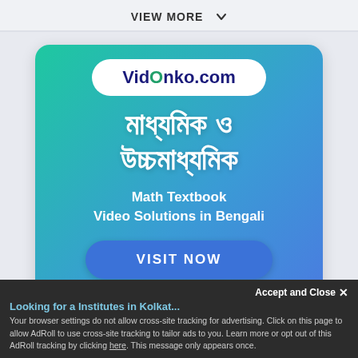VIEW MORE ⌄
[Figure (illustration): Vidonko.com advertisement banner with gradient green-to-blue background. Shows Bengali text for 'Secondary and Higher Secondary' and subtitle 'Math Textbook Video Solutions in Bengali' with a 'VISIT NOW' button.]
Looking for a Institutes in Kolkat...
Accept and Close ✕
Your browser settings do not allow cross-site tracking for advertising. Click on this page to allow AdRoll to use cross-site tracking to tailor ads to you. Learn more or opt out of this AdRoll tracking by clicking here. This message only appears once.